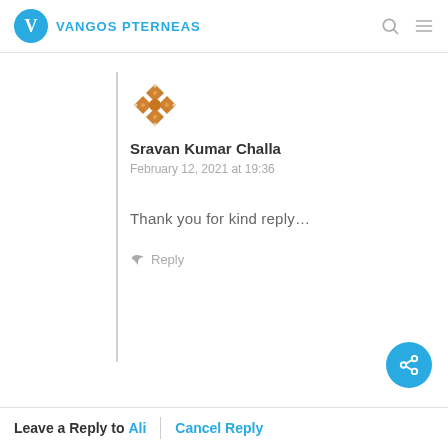VANGOS PTERNEAS
[Figure (logo): Commenter avatar: orange decorative geometric/cross pattern icon]
Sravan Kumar Challa
February 12, 2021 at 19:36
Thank you for kind reply…
↳ Reply
Leave a Reply to Ali | Cancel Reply